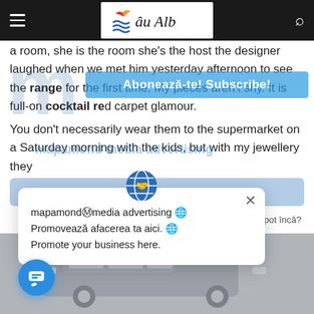Râu Alb — navigation bar with logo
a room, she is the room she's the host the designer laughed when we met him yesterday afternoon to see the range for the first time. My pieces aren't shy. It is full-on cocktail red carpet glamour.
You don't necessarily wear them to the supermarket on a Saturday morning with the kids, but with my jewellery they
mapamondⓂmedia advertising 🌐
Promovează afacerea ta aici. 🌐
Promote your business here.
[Figure (screenshot): Vehicle photograph in lower portion of page, grey toned, shows a car/truck exterior]